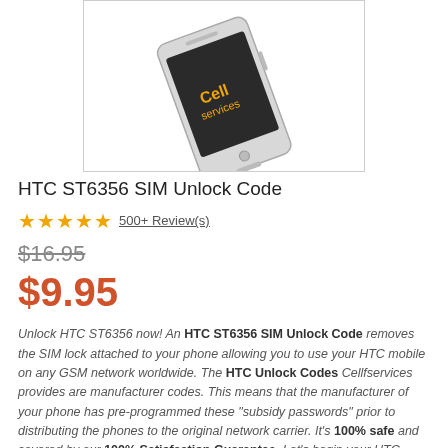[Figure (photo): Partial photo of an HTC smartphone (silver/white) shown from an angled top-down view, partially cropped, inside a bordered box]
HTC ST6356 SIM Unlock Code
★★★★★ 500+ Review(s)
$16.95 (strikethrough)
$9.95
Unlock HTC ST6356 now! An HTC ST6356 SIM Unlock Code removes the SIM lock attached to your phone allowing you to use your HTC mobile on any GSM network worldwide. The HTC Unlock Codes Cellfservices provides are manufacturer codes. This means that the manufacturer of your phone has pre-programmed these "subsidy passwords" prior to distributing the phones to the original network carrier. It's 100% safe and covered by our 100% Satisfaction Guarantee. Let's begin your HTC Unlocking process by filling out the information below.